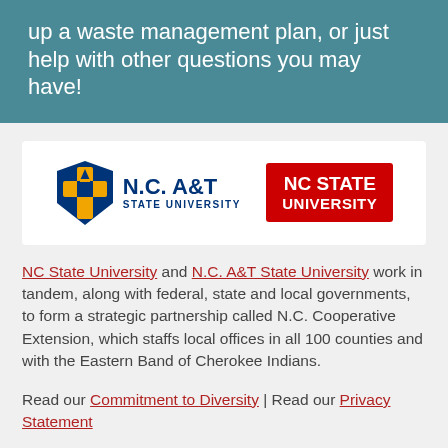up a waste management plan, or just help with other questions you may have!
[Figure (logo): N.C. A&T State University logo and NC State University logo side by side on white background]
NC State University and N.C. A&T State University work in tandem, along with federal, state and local governments, to form a strategic partnership called N.C. Cooperative Extension, which staffs local offices in all 100 counties and with the Eastern Band of Cherokee Indians.
Read our Commitment to Diversity | Read our Privacy Statement